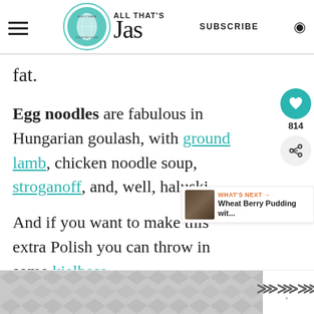ALL THAT'S Jas — SUBSCRIBE (navigation header with logo)
fat.
Egg noodles are fabulous in Hungarian goulash, with ground lamb, chicken noodle soup, stroganoff, and, well, haluski.
And if you want to make this extra Polish you can throw in some kielbasa.
[Figure (screenshot): What's Next thumbnail showing Wheat Berry Pudding]
[Figure (infographic): Bottom advertisement with grey geometric hexagon/chevron pattern and brand logo]